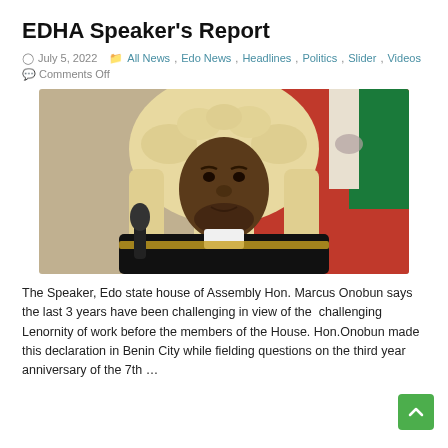EDHA Speaker's Report
July 5, 2022   All News, Edo News, Headlines, Politics, Slider, Videos
Comments Off
[Figure (photo): Speaker of Edo State House of Assembly Hon. Marcus Onobun wearing traditional legal wig and black robe, seated in a red chair with a Nigerian flag in the background]
The Speaker, Edo state house of Assembly Hon. Marcus Onobun says the last 3 years have been challenging in view of the  challenging Lenornity of work before the members of the House. Hon.Onobun made this declaration in Benin City while fielding questions on the third year anniversary of the 7th …